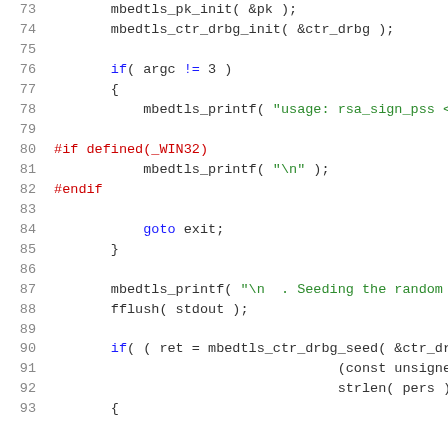Code snippet lines 73-93 showing C code for RSA sign PSS with mbedTLS library functions including pk_init, ctr_drbg_init, argument check, printf calls, goto, fflush, and ctr_drbg_seed.